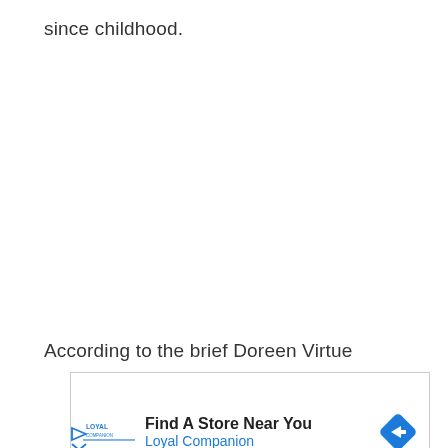since childhood.
According to the brief Doreen Virtue
[Figure (other): Advertisement banner for Loyal Companion pet store with logo, text 'Find A Store Near You' and 'Loyal Companion', and a blue diamond navigation icon, plus play and close control buttons below.]